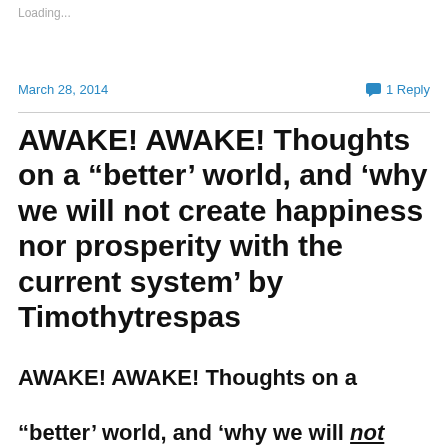Loading...
March 28, 2014
1 Reply
AWAKE! AWAKE! Thoughts on a “better’ world, and ‘why we will not create happiness nor prosperity with the current system’ by Timothytrespas
AWAKE! AWAKE! Thoughts on a “better’ world, and ‘why we will not